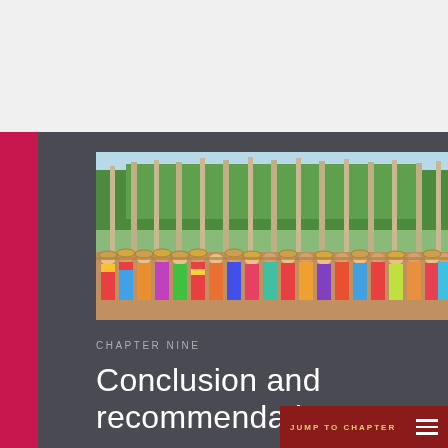[Figure (photo): A large group of women in colorful traditional saris carrying baskets on their heads, standing in a row outdoors with tall trees in the background and a light blue sky.]
CHAPTER NINE
Conclusion and recommendations